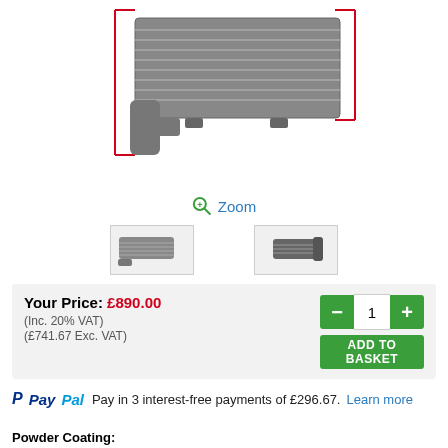[Figure (photo): Product image of an intercooler with red bracket dimension lines on left and right sides, shown against white background]
Zoom
[Figure (photo): Two small thumbnail images of the intercooler product from different angles]
Your Price: £890.00
(Inc. 20% VAT)
(£741.67 Exc. VAT)
Pay in 3 interest-free payments of £296.67. Learn more
Powder Coating: